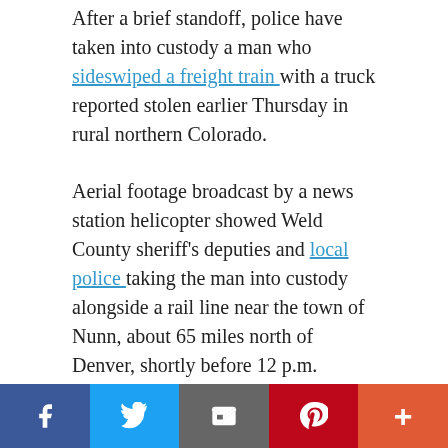After a brief standoff, police have taken into custody a man who sideswiped a freight train with a truck reported stolen earlier Thursday in rural northern Colorado.
Aerial footage broadcast by a news station helicopter showed Weld County sheriff's deputies and local police taking the man into custody alongside a rail line near the town of Nunn, about 65 miles north of Denver, shortly before 12 p.m.
KENTUCKY RECEIVES $5 MILLION FEDERAL GRANT TO PREVENT INTERSTATE CRASHES
The man, whose identity wasn't immediately
Facebook | Twitter | Email | Pinterest | More